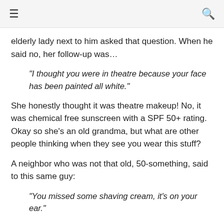≡  🔍
elderly lady next to him asked that question. When he said no, her follow-up was…
"I thought you were in theatre because your face has been painted all white."
She honestly thought it was theatre makeup! No, it was chemical free sunscreen with a SPF 50+ rating. Okay so she's an old grandma, but what are other people thinking when they see you wear this stuff?
A neighbor who was not that old, 50-something, said to this same guy:
"You missed some shaving cream, it's on your ear."
Um, no. Who shaves their ears anyway?! It was physical sunblock he was wearing.